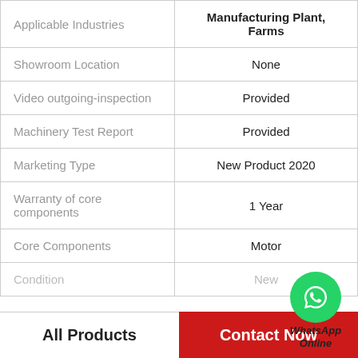| Property | Value |
| --- | --- |
| Applicable Industries | Manufacturing Plant, Farms |
| Showroom Location | None |
| Video outgoing-inspection | Provided |
| Machinery Test Report | Provided |
| Marketing Type | New Product 2020 |
| Warranty of core components | 1 Year |
| Core Components | Motor |
| Condition | New |
[Figure (logo): WhatsApp Online bubble icon with green circle phone logo and text 'WhatsApp Online']
All Products   Contact Now